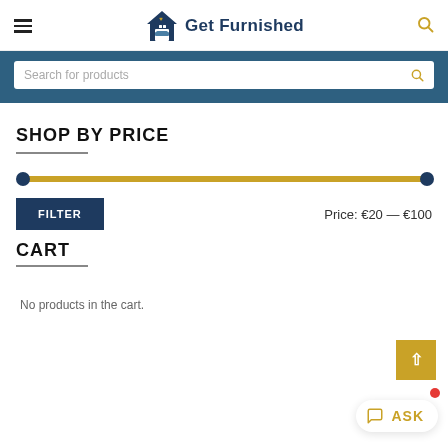Get Furnished
Search for products
SHOP BY PRICE
[Figure (other): Price range slider with two handles showing a range from €20 to €100, with a golden track and dark navy circle handles on each end.]
FILTER   Price: €20 — €100
CART
No products in the cart.